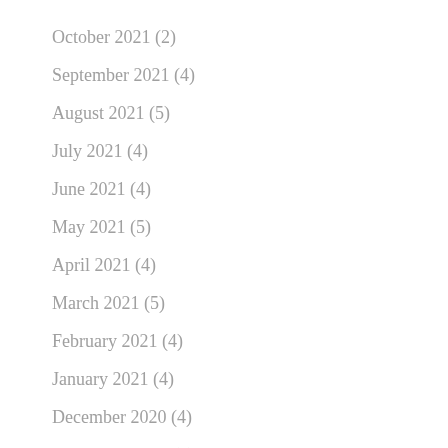October 2021 (2)
September 2021 (4)
August 2021 (5)
July 2021 (4)
June 2021 (4)
May 2021 (5)
April 2021 (4)
March 2021 (5)
February 2021 (4)
January 2021 (4)
December 2020 (4)
November 2020 (5)
October 2020 (4)